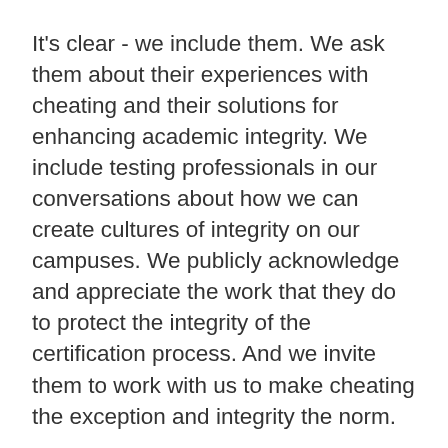It's clear - we include them. We ask them about their experiences with cheating and their solutions for enhancing academic integrity. We include testing professionals in our conversations about how we can create cultures of integrity on our campuses. We publicly acknowledge and appreciate the work that they do to protect the integrity of the certification process. And we invite them to work with us to make cheating the exception and integrity the norm.
To those testing center professionals out